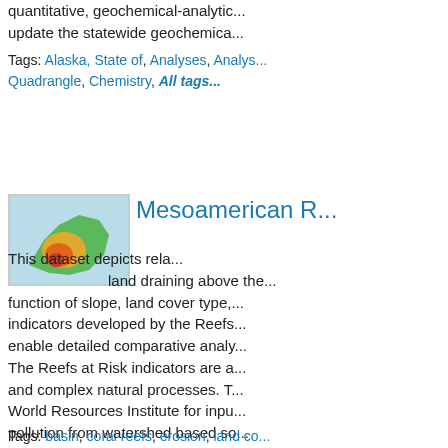quantitative, geochemical-analytic... update the statewide geochemica...
Tags: Alaska, State of, Analyses, Analyse... Quadrangle, Chemistry, All tags...
[Figure (map): Thumbnail map showing Mesoamerican region with colored zones (green, yellow, orange, red)]
Mesoamerican R...
This dataset depicts rela... land draining above the... function of slope, land cover type,... indicators developed by the Reefs... enable detailed comparative analy... The Reefs at Risk indicators are a... and complex natural processes. T... World Resources Institute for inpu... pollution from watershed based so... though important to economic dev... source of increased sediment, nut... Threats from sedimentation...
Tags: basin, coral reefs, erosion, land co...
[Figure (map): Thumbnail map showing Puerto Rico in red/pink on light blue background]
Puerto Rico Wate... Basin